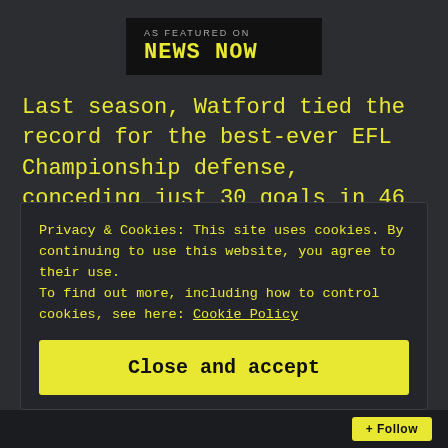[Figure (logo): News Now logo — black box with 'AS FEATURED ON' in small caps and 'NEWS NOW' in large yellow monospace font]
Last season, Watford tied the record for the best-ever EFL Championship defense, conceding just 30 goals in 46 matches. Thus, upon promotion to the Premier League, a safe assumption seems to be that the center of the defense does not need attention.
Privacy & Cookies: This site uses cookies. By continuing to use this website, you agree to their use.
To find out more, including how to control cookies, see here: Cookie Policy
Close and accept